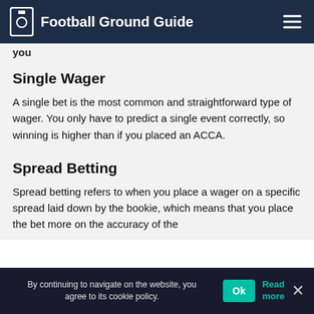Football Ground Guide
you
Single Wager
A single bet is the most common and straightforward type of wager. You only have to predict a single event correctly, so winning is higher than if you placed an ACCA.
Spread Betting
Spread betting refers to when you place a wager on a specific spread laid down by the bookie, which means that you place the bet more on the accuracy of the
By continuing to navigate on the website, you agree to its cookie policy.